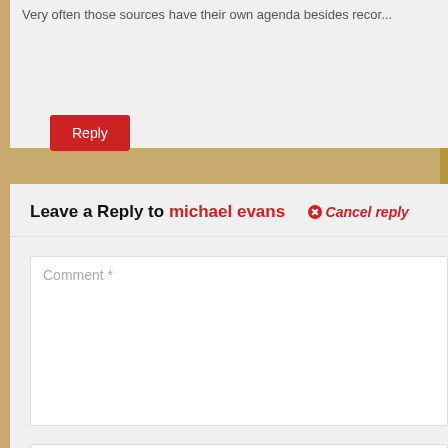Very often those sources have their own agenda besides recor...
Reply
Leave a Reply to michael evans  ⊗ Cancel reply
Comment *
Name *
Email Address *
↑ Top